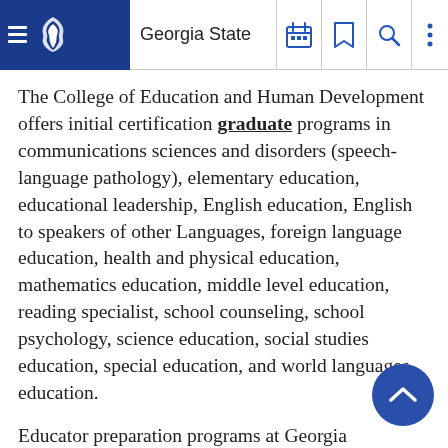Georgia State
The College of Education and Human Development offers initial certification graduate programs in communications sciences and disorders (speech-language pathology), elementary education, educational leadership, English education, English to speakers of other Languages, foreign language education, health and physical education, mathematics education, middle level education, reading specialist, school counseling, school psychology, science education, social studies education, special education, and world languages education.
Educator preparation programs at Georgia State University are field-based; that is, much of the coursework requires structured participation in school settings. Therefore, students must be available for coursework that will be scheduled during